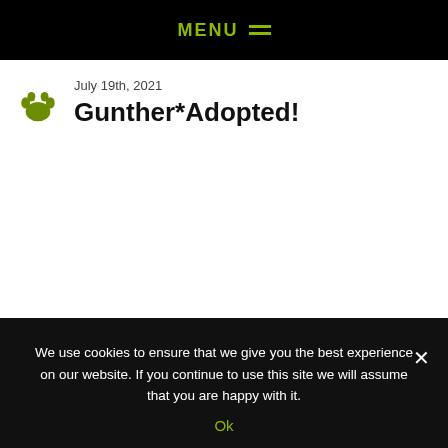MENU
July 19th, 2021
Gunther*Adopted!
We use cookies to ensure that we give you the best experience on our website. If you continue to use this site we will assume that you are happy with it.
Ok